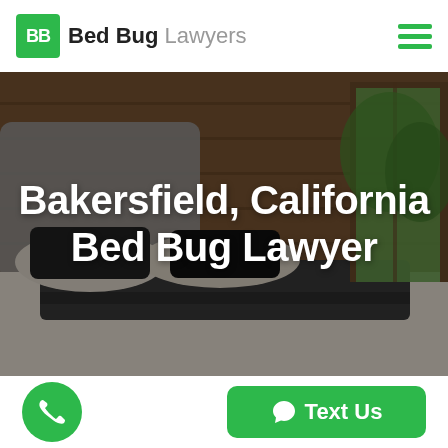BB Bed Bug Lawyers
[Figure (photo): Hero image of a hotel bedroom with wooden walls, white bedding, dark pillows, and a window with green foliage outside. Overlaid with a dark semi-transparent layer.]
Bakersfield, California Bed Bug Lawyer
[Figure (other): Green circular phone call button on the bottom left and a green 'Text Us' button with a speech bubble icon on the bottom right.]